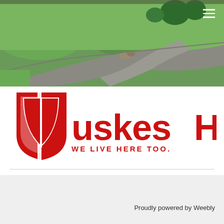[Figure (photo): Aerial/street view photo showing a curved driveway or road with green grass, trees and landscaping in background. Hamburger menu icon (three white horizontal lines) visible in top-right corner.]
[Figure (logo): Tuskes Homes logo — red shield/T icon on the left, text 'uskes' in red bold lowercase, 'HOMES' in red bold uppercase, tagline 'WE LIVE HERE TOO.' in red uppercase below.]
Proudly powered by Weebly